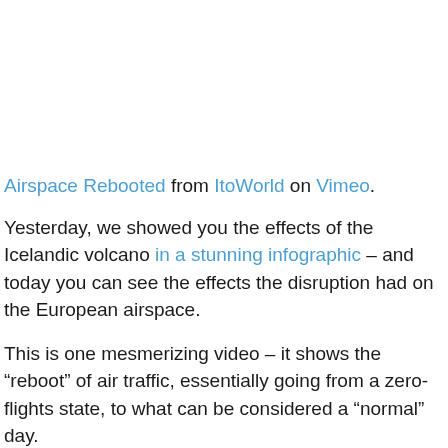[Figure (other): Embedded video placeholder area (blank white space where a Vimeo video would appear)]
Airspace Rebooted from ItoWorld on Vimeo.
Yesterday, we showed you the effects of the Icelandic volcano in a stunning infographic – and today you can see the effects the disruption had on the European airspace.
This is one mesmerizing video – it shows the "reboot" of air traffic, essentially going from a zero-flights state, to what can be considered a “normal” day.
The effect is amazing – you can clearly see the entire United Kingdom and Western Europe shut down (give or take one or